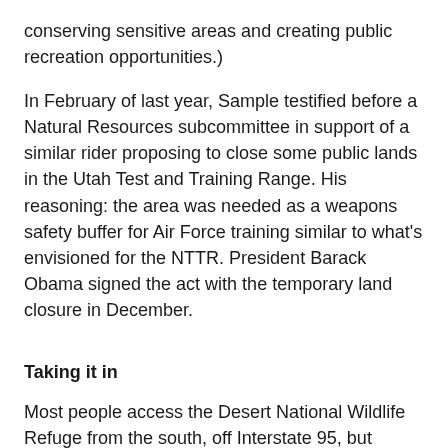conserving sensitive areas and creating public recreation opportunities.)
In February of last year, Sample testified before a Natural Resources subcommittee in support of a similar rider proposing to close some public lands in the Utah Test and Training Range. His reasoning: the area was needed as a weapons safety buffer for Air Force training similar to what’s envisioned for the NTTR. President Barack Obama signed the act with the temporary land closure in December.
Taking it in
Most people access the Desert National Wildlife Refuge from the south, off Interstate 95, but there’s another way in: from the north, off Highway 93, through the Pahranagat National Wildlife Refuge. Alamo Road, which begins just past the